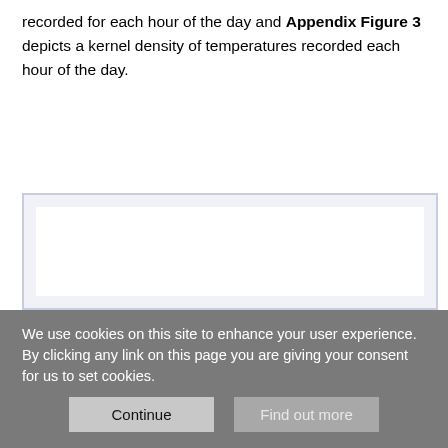recorded for each hour of the day and Appendix Figure 3 depicts a kernel density of temperatures recorded each hour of the day.
[Figure (other): Empty white figure placeholder with light blue-gray border, representing a figure area (content not visible due to cookie overlay)]
We use cookies on this site to enhance your user experience. By clicking any link on this page you are giving your consent for us to set cookies.